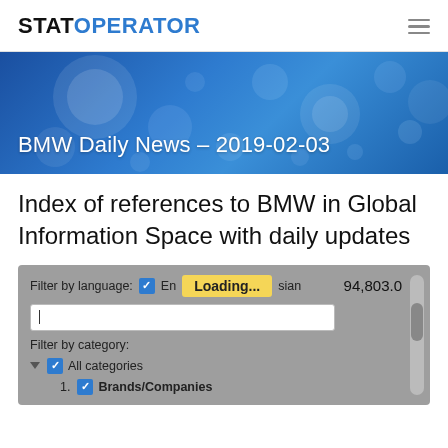STATOPERATOR
[Figure (photo): Blue bokeh hero banner background with circular light bokeh effects in shades of blue and white]
BMW Daily News – 2019-02-03
Index of references to BMW in Global Information Space with daily updates
[Figure (screenshot): Filter widget with language filter (checkboxes for English and Russian), Loading... tooltip, count 94,803.0, search input box, Filter by category section with All categories and Brands/Companies checkboxes, and a scrollbar on the right]